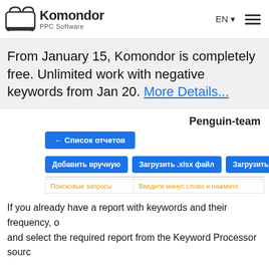Komondor PPC Software — EN (navigation)
From January 15, Komondor is completely free. Unlimited work with negative keywords from Jan 20. More Details...
Penguin-team
← Список отчетов
Добавить вручную | Загрузить .xlsx файл | Загрузить через гугл-диск
Поисковые запросы | Введите минус слово и нажмите
If you already have a report with keywords and their frequency, o and select the required report from the Keyword Processor sourc